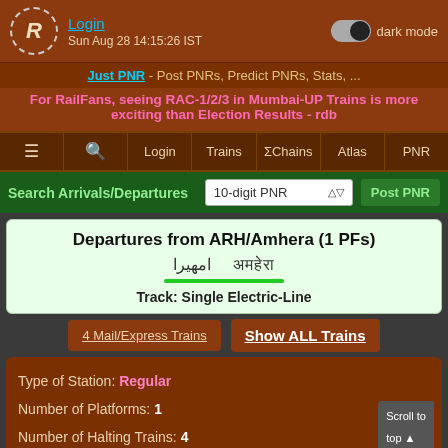Login | Sun Aug 28 14:15:26 IST | dark mode
Just PNR - Post PNRs, Predict PNRs, Stats, ...
For RailFans, seeing RAC-1/2/3 in Mumbai-UP Trains is more exciting than Election Results - rdb
≡ | 🔍 | Login | Trains | ΣChains | Atlas | PNR
Search Arrivals/Departures | 10-digit PNR | Post PNR
Departures from ARH/Amhera (1 PFs)
امھیرا   अमहेरा
Track: Single Electric-Line
4 Mail/Express Trains  Show ALL Trains
Type of Station: Regular
Number of Platforms: 1
Number of Halting Trains: 4